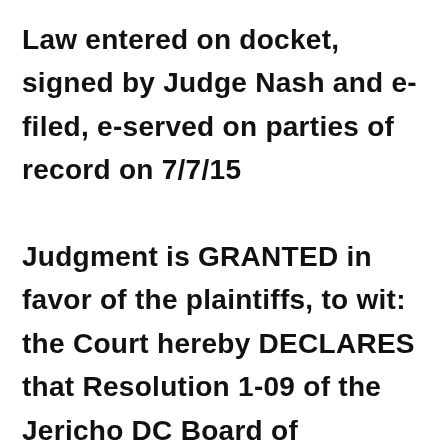Law entered on docket, signed by Judge Nash and e-filed, e-served on parties of record on 7/7/15

Judgment is GRANTED in favor of the plaintiffs, to wit: the Court hereby DECLARES that Resolution 1-09 of the Jericho DC Board of Trustees, which purported to change the membership of the Board of Trustees, is invalid; and